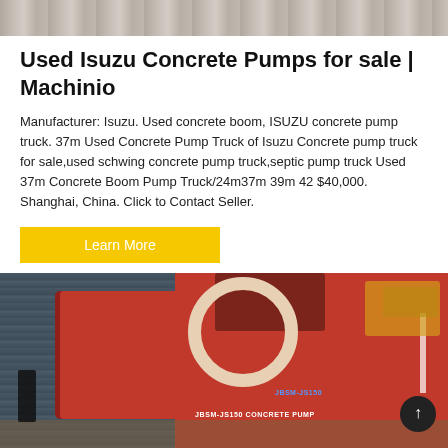[Figure (photo): Top partial image showing textured/rocky surface, cropped at top of page]
Used Isuzu Concrete Pumps for sale | Machinio
Manufacturer: Isuzu. Used concrete boom, ISUZU concrete pump truck. 37m Used Concrete Pump Truck of Isuzu Concrete pump truck for sale,used schwing concrete pump truck,septic pump truck Used 37m Concrete Boom Pump Truck/24m37m 39m 42 $40,000. Shanghai, China. Click to Contact Seller.
[Figure (other): Yellow 'Learn More' button]
[Figure (photo): Photo of a large red JBSM-JS150 concrete pump machine, with corrugated metal container wall visible on the left, a yellow construction vehicle in the background right, hose/pipe coil visible on top, and a person standing on the far left. Text on machine reads 'JBSM-JS150 CONCRETE PUMP'. Dark circular scroll-to-top button visible in bottom right corner.]